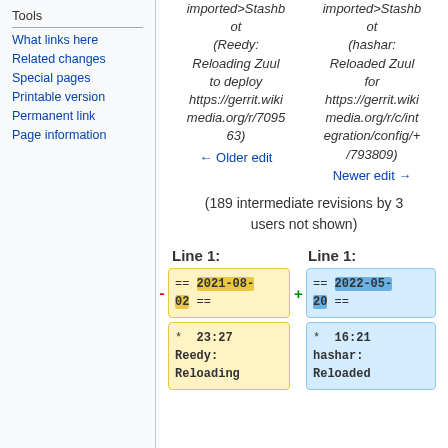Tools
What links here
Related changes
Special pages
Printable version
Permanent link
Page information
imported>Stashbot (Reedy: Reloading Zuul to deploy https://gerrit.wikimedia.org/r/709563)
← Older edit
imported>Stashbot (hashar: Reloaded Zuul for https://gerrit.wikimedia.org/r/c/integration/config/+/793809)
Newer edit →
(189 intermediate revisions by 3 users not shown)
Line 1:
Line 1:
== 2021-08-02 ==
== 2022-05-20 ==
* 23:27 Reedy: Reloading
* 16:21 hashar: Reloaded